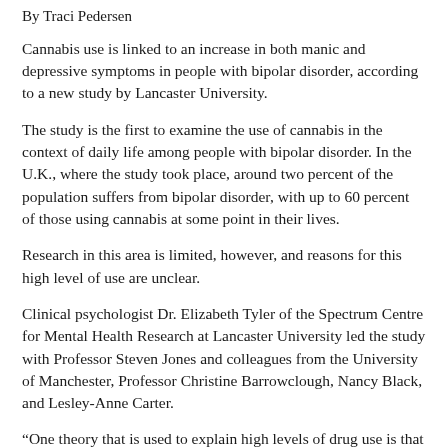By Traci Pedersen
Cannabis use is linked to an increase in both manic and depressive symptoms in people with bipolar disorder, according to a new study by Lancaster University.
The study is the first to examine the use of cannabis in the context of daily life among people with bipolar disorder. In the U.K., where the study took place, around two percent of the population suffers from bipolar disorder, with up to 60 percent of those using cannabis at some point in their lives.
Research in this area is limited, however, and reasons for this high level of use are unclear.
Clinical psychologist Dr. Elizabeth Tyler of the Spectrum Centre for Mental Health Research at Lancaster University led the study with Professor Steven Jones and colleagues from the University of Manchester, Professor Christine Barrowclough, Nancy Black, and Lesley-Anne Carter.
“One theory that is used to explain high levels of drug use is that people use cannabis to self-medicate their symptoms of bipolar disorder,” said Tyler.
For the study, the researchers evaluated people diagnosed with